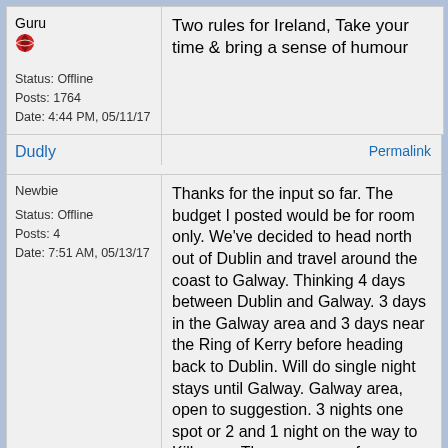Guru
Two rules for Ireland, Take your time & bring a sense of humour
Status: Offline
Posts: 1764
Date: 4:44 PM, 05/11/17
Dudly
Permalink
Newbie
Status: Offline
Posts: 4
Date: 7:51 AM, 05/13/17
Thanks for the input so far. The budget I posted would be for room only. We've decided to head north out of Dublin and travel around the coast to Galway. Thinking 4 days between Dublin and Galway. 3 days in the Galway area and 3 days near the Ring of Kerry before heading back to Dublin. Will do single night stays until Galway. Galway area, open to suggestion. 3 nights one spot or 2 and 1 night on the way to Killarney. The same goes for Killarney. May be a little ambitious but trying to fit in as much as possible.